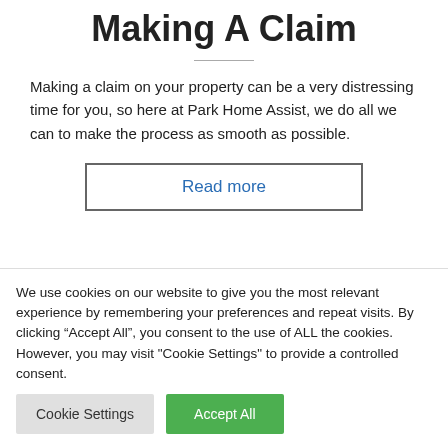Making A Claim
Making a claim on your property can be a very distressing time for you, so here at Park Home Assist, we do all we can to make the process as smooth as possible.
Read more
We use cookies on our website to give you the most relevant experience by remembering your preferences and repeat visits. By clicking “Accept All”, you consent to the use of ALL the cookies. However, you may visit "Cookie Settings" to provide a controlled consent.
Cookie Settings
Accept All